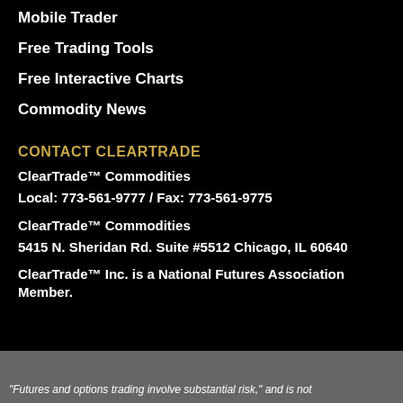Mobile Trader
Free Trading Tools
Free Interactive Charts
Commodity News
CONTACT CLEARTRADE
ClearTrade™ Commodities
Local: 773-561-9777 / Fax: 773-561-9775
ClearTrade™ Commodities
5415 N. Sheridan Rd. Suite #5512 Chicago, IL 60640
ClearTrade™ Inc. is a National Futures Association Member.
"Futures and options trading involve substantial risk," and is not